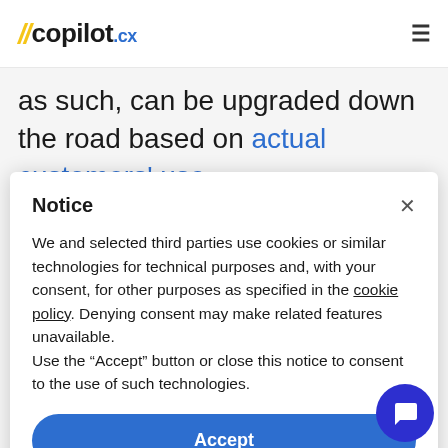[Figure (logo): Copilot.cx logo with yellow double-slash mark and hamburger menu icon]
as such, can be upgraded down the road based on actual customers' use
Notice
We and selected third parties use cookies or similar technologies for technical purposes and, with your consent, for other purposes as specified in the cookie policy. Denying consent may make related features unavailable.
Use the “Accept” button or close this notice to consent to the use of such technologies.
Accept
Learn more and customize